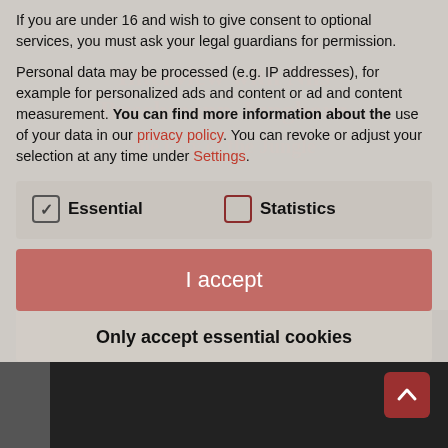If you are under 16 and wish to give consent to optional services, you must ask your legal guardians for permission.
Personal data may be processed (e.g. IP addresses), for example for personalized ads and content or ad and content measurement. You can find more information about the use of your data in our privacy policy. You can revoke or adjust your selection at any time under Settings.
Essential    Statistics
I accept
Only accept essential cookies